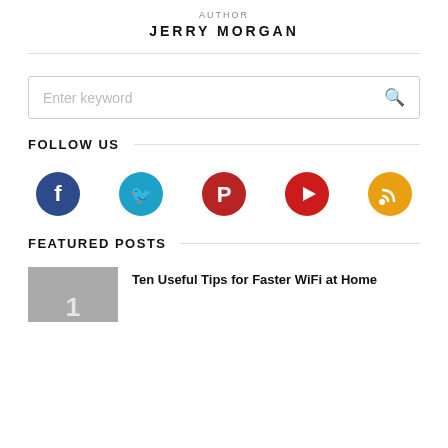AUTHOR
JERRY MORGAN
Enter keyword
FOLLOW US
[Figure (infographic): Social media icons: Facebook (dark blue), Twitter (light blue), Pinterest (red), YouTube (red), RSS (orange)]
FEATURED POSTS
Ten Useful Tips for Faster WiFi at Home